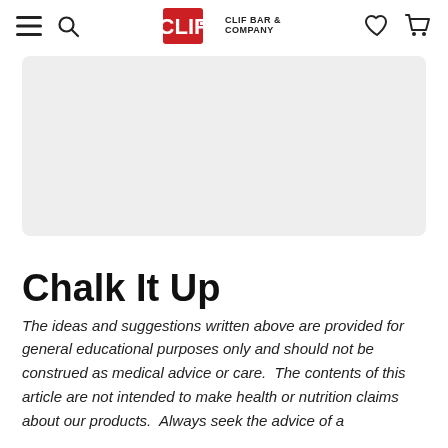CLIF BAR & COMPANY
[Figure (photo): Large grey placeholder image area for article hero image]
Chalk It Up
The ideas and suggestions written above are provided for general educational purposes only and should not be construed as medical advice or care.  The contents of this article are not intended to make health or nutrition claims about our products.  Always seek the advice of a